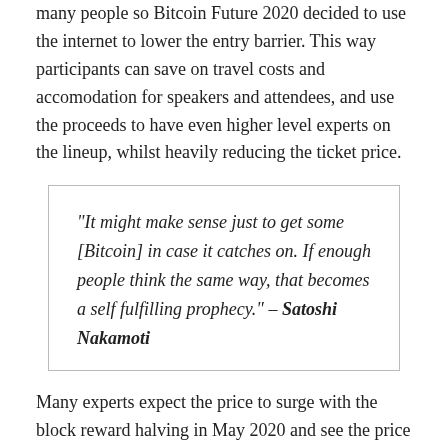many people so Bitcoin Future 2020 decided to use the internet to lower the entry barrier. This way participants can save on travel costs and accomodation for speakers and attendees, and use the proceeds to have even higher level experts on the lineup, whilst heavily reducing the ticket price.
“It might make sense just to get some [Bitcoin] in case it catches on. If enough people think the same way, that becomes a self fulfilling prophecy.” – Satoshi Nakamoti
Many experts expect the price to surge with the block reward halving in May 2020 and see the price shoot up to new all-time-highs. But right now the sentiment is low because Bitcoin doesn’t seem to be able to pull out of the bearish trend. One of